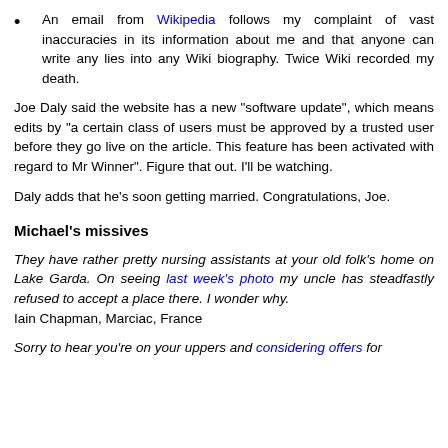An email from Wikipedia follows my complaint of vast inaccuracies in its information about me and that anyone can write any lies into any Wiki biography. Twice Wiki recorded my death.
Joe Daly said the website has a new "software update", which means edits by "a certain class of users must be approved by a trusted user before they go live on the article. This feature has been activated with regard to Mr Winner". Figure that out. I'll be watching.
Daly adds that he's soon getting married. Congratulations, Joe.
Michael's missives
They have rather pretty nursing assistants at your old folk's home on Lake Garda. On seeing last week's photo my uncle has steadfastly refused to accept a place there. I wonder why.
Iain Chapman, Marciac, France
Sorry to hear you're on your uppers and considering offers for